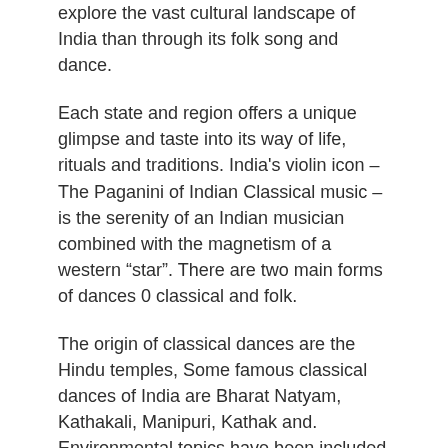explore the vast cultural landscape of India than through its folk song and dance.
Each state and region offers a unique glimpse and taste into its way of life, rituals and traditions. India’s violin icon – The Paganini of Indian Classical music – is the serenity of an Indian musician combined with the magnetism of a western “star”. There are two main forms of dances 0 classical and folk.
The origin of classical dances are the Hindu temples, Some famous classical dances of India are Bharat Natyam, Kathakali, Manipuri, Kathak and. Environmental topics have been included in many subjects and curriculum from time to time in the schools, colleges, universities and other institutions but a transformation in environmental law in India began in when an Indian lawyer, M.C.
Mehta, persuaded India's Supreme Court to rule that Article 21 of the Indian Constitution, which .